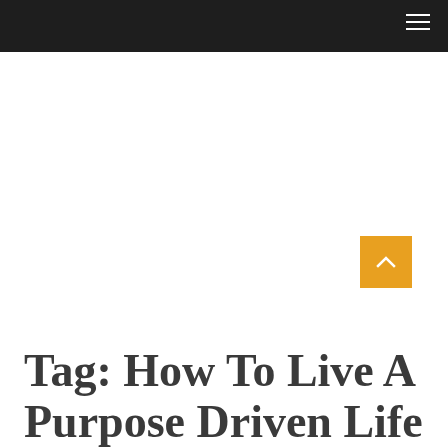Tag: How To Live A Purpose Driven Life